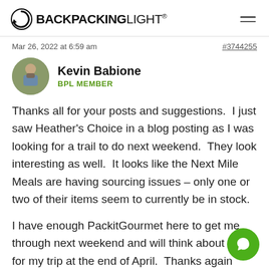BACKPACKINGLIGHT®
Mar 26, 2022 at 6:59 am
#3744255
Kevin Babione
BPL MEMBER
Thanks all for your posts and suggestions.  I just saw Heather's Choice in a blog posting as I was looking for a trail to do next weekend.  They look interesting as well.  It looks like the Next Mile Meals are having sourcing issues – only one or two of their items seem to currently be in stock.

I have enough PackitGourmet here to get me through next weekend and will think about the for my trip at the end of April.  Thanks again